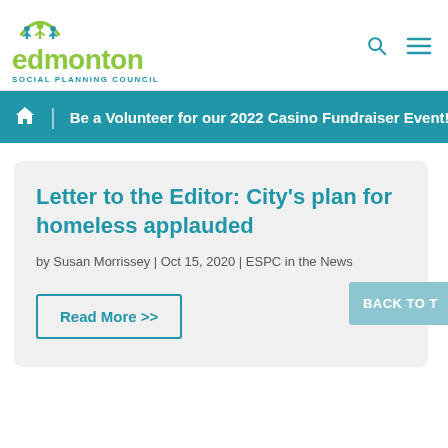[Figure (logo): Edmonton Social Planning Council logo with stylized figures icon, green 'edmonton' text, and teal 'SOCIAL PLANNING COUNCIL' subtext]
Be a Volunteer for our 2022 Casino Fundraiser Event!
Letter to the Editor: City's plan for homeless applauded
by Susan Morrissey | Oct 15, 2020 | ESPC in the News
Read More >>
BACK TO T